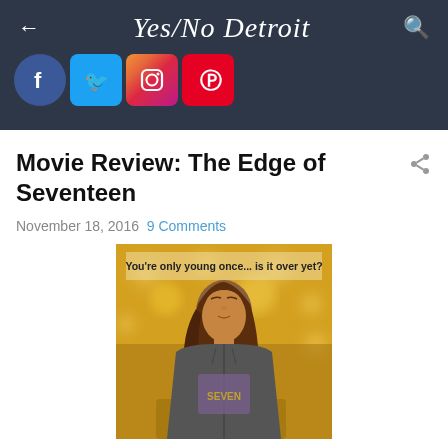Yes/No Detroit
Movie Review: The Edge of Seventeen
November 18, 2016 9 Comments
[Figure (photo): Movie poster for The Edge of Seventeen showing a teenage girl with long brown wavy hair looking up toward the sky, wearing a grey hoodie, against a blurred yellow/golden bokeh background. Text at top reads: You're only young once... is it over yet?]